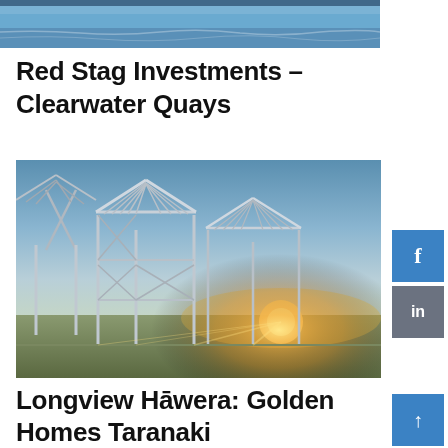[Figure (photo): Top cropped image showing a waterfront or lake scene with blue sky and water reflections]
Red Stag Investments – Clearwater Quays
[Figure (photo): Construction photo of a steel-framed house structure under a dramatic sunset sky, with golden light shining through the metal framework. Green fields visible in background.]
Longview Hāwera: Golden Homes Taranaki